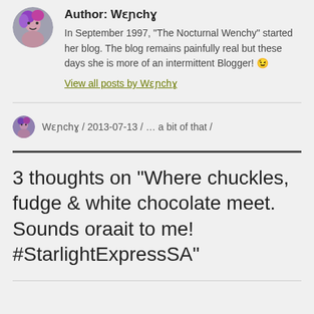Author: Wɛɲchɣ
In September 1997, “The Nocturnal Wenchy” started her blog. The blog remains painfully real but these days she is more of an intermittent Blogger! 😉
View all posts by Wɛɲchɣ
Wɛɲchɣ / 2013-07-13 / … a bit of that /
3 thoughts on “Where chuckles, fudge & white chocolate meet. Sounds oraait to me! #StarlightExpressSA”